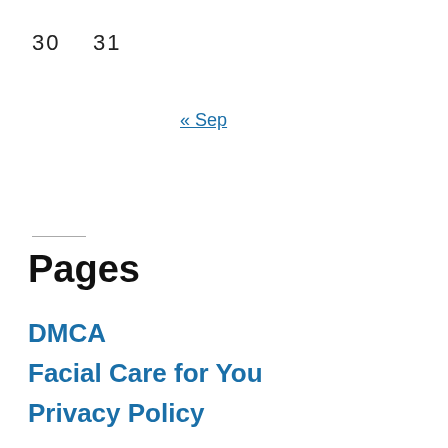30    31
« Sep
Pages
DMCA
Facial Care for You
Privacy Policy